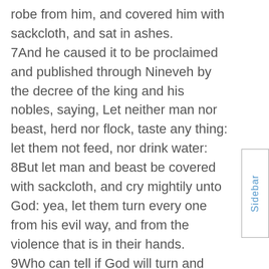and he arose from his throne, and he laid his robe from him, and covered him with sackcloth, and sat in ashes. 7And he caused it to be proclaimed and published through Nineveh by the decree of the king and his nobles, saying, Let neither man nor beast, herd nor flock, taste any thing: let them not feed, nor drink water: 8But let man and beast be covered with sackcloth, and cry mightily unto God: yea, let them turn every one from his evil way, and from the violence that is in their hands. 9Who can tell if God will turn and repent, and turn away from his fierce anger, that we perish not? 10And God saw their works, that they